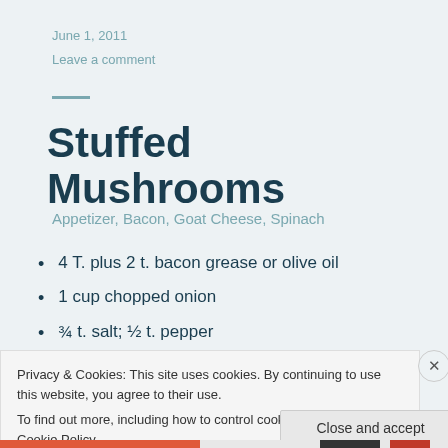June 1, 2011
Leave a comment
Stuffed Mushrooms
Appetizer, Bacon, Goat Cheese, Spinach
4 T. plus 2 t. bacon grease or olive oil
1 cup chopped onion
¾ t. salt; ½ t. pepper
Privacy & Cookies: This site uses cookies. By continuing to use this website, you agree to their use.
To find out more, including how to control cookies, see here: Cookie Policy